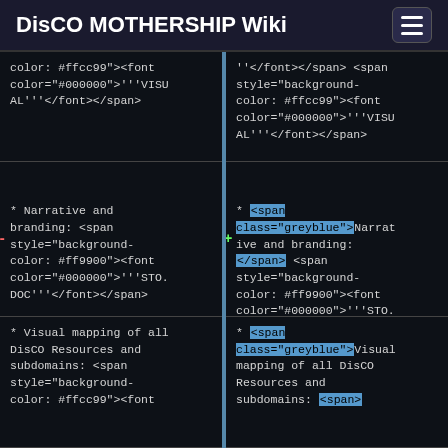DisCO MOTHERSHIP Wiki
color: #ffcc99"><font color="#000000">'''VISUAL'''</font></span>
''</font></span> <span style="background-color: #ffcc99"><font color="#000000">'''VISUAL'''</font></span>
* Narrative and branding: <span style="background-color: #ff9900"><font color="#000000">'''STO.DOC'''</font></span>
* <span class="greyblue">Narrative and branding: </span><span style="background-color: #ff9900"><font color="#000000">'''STO.DOC'''</font></span>
* Visual mapping of all DisCO Resources and subdomains: <span style="background-color: #ffcc99"><font
* <span class="greyblue">Visual mapping of all DisCO Resources and subdomains: <span>